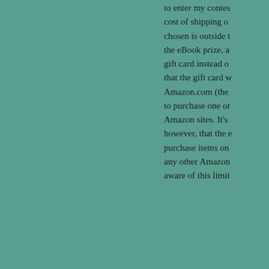to enter my contest, the cost of shipping or if chosen is outside the eBook prize, a gift card instead of that the gift card will Amazon.com (the to purchase one or Amazon sites. It's however, that the gift card purchase items on any other Amazon aware of this limit